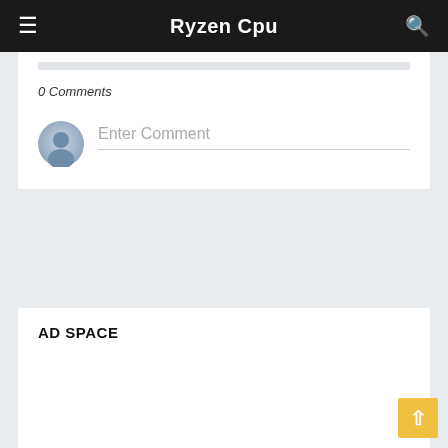Ryzen Cpu
0 Comments
Enter Comment
AD SPACE